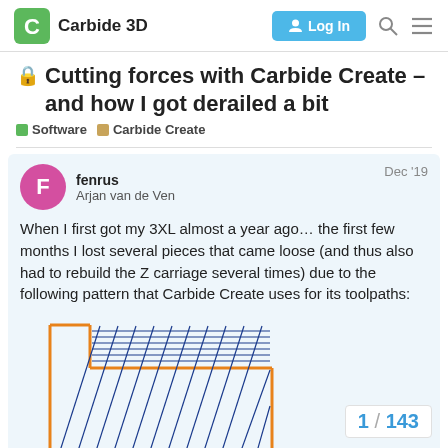Carbide 3D — Log In
🔒 Cutting forces with Carbide Create – and how I got derailed a bit
Software   Carbide Create
fenrus
Arjan van de Ven
Dec '19
When I first got my 3XL almost a year ago… the first few months I lost several pieces that came loose (and thus also had to rebuild the Z carriage several times) due to the following pattern that Carbide Create uses for its toolpaths:
[Figure (illustration): Toolpath pattern diagram showing diagonal parallel lines (blue) cutting across a rectangular region bounded by an orange L-shaped border, illustrating the Carbide Create toolpath pattern.]
1 / 143